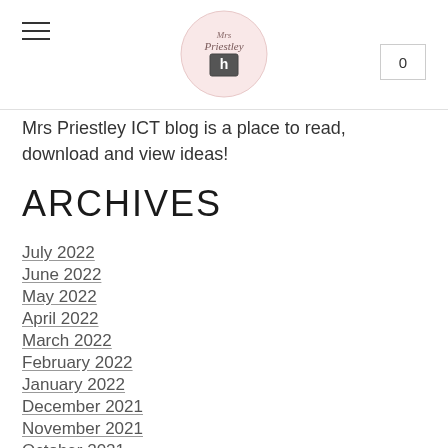Mrs Priestley ICT blog — logo and navigation header
Mrs Priestley ICT blog is a place to read, download and view ideas!
ARCHIVES
July 2022
June 2022
May 2022
April 2022
March 2022
February 2022
January 2022
December 2021
November 2021
October 2021
July 2021
June 2021